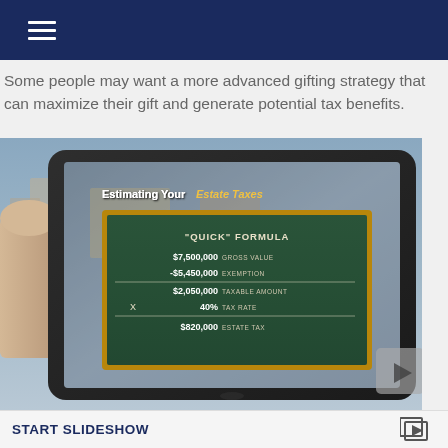Some people may want a more advanced gifting strategy that can maximize their gift and generate potential tax benefits.
[Figure (photo): A hand holding a tablet displaying a slide titled 'Estimating Your Estate Taxes' with a chalkboard showing a quick formula: $7,500,000 gross value, -$5,450,000 exemption, $2,050,000 taxable amount, x 40% tax rate, $820,000 estate tax.]
START SLIDESHOW